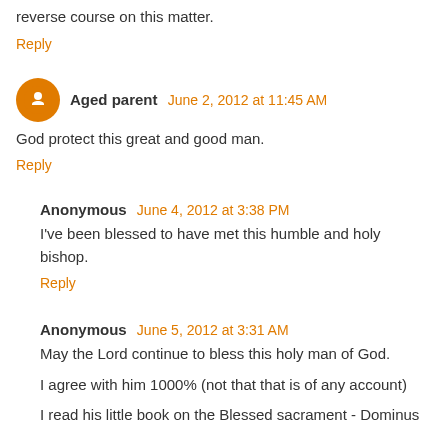reverse course on this matter.
Reply
Aged parent  June 2, 2012 at 11:45 AM
God protect this great and good man.
Reply
Anonymous  June 4, 2012 at 3:38 PM
I've been blessed to have met this humble and holy bishop.
Reply
Anonymous  June 5, 2012 at 3:31 AM
May the Lord continue to bless this holy man of God.
I agree with him 1000% (not that that is of any account)
I read his little book on the Blessed sacrament - Dominus